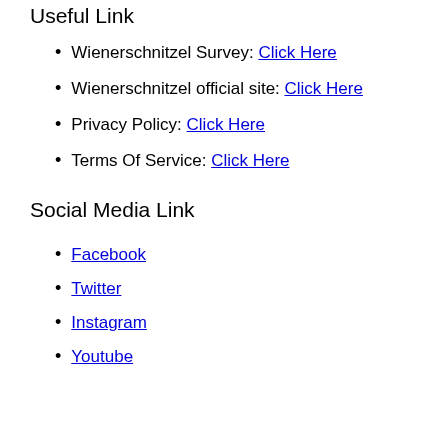Useful Link
Wienerschnitzel Survey: Click Here
Wienerschnitzel official site: Click Here
Privacy Policy: Click Here
Terms Of Service: Click Here
Social Media Link
Facebook
Twitter
Instagram
Youtube